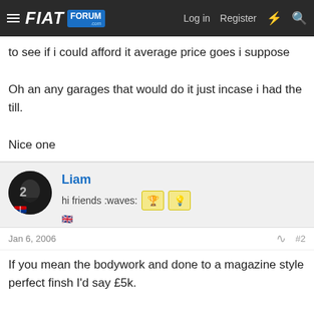FIAT FORUM - Log in | Register
to see if i could afford it average price goes i suppose

Oh an any garages that would do it just incase i had the till.

Nice one
Liam
hi friends :waves:
Jan 6, 2006  #2
If you mean the bodywork and done to a magazine style perfect finsh I'd say £5k.

Liam